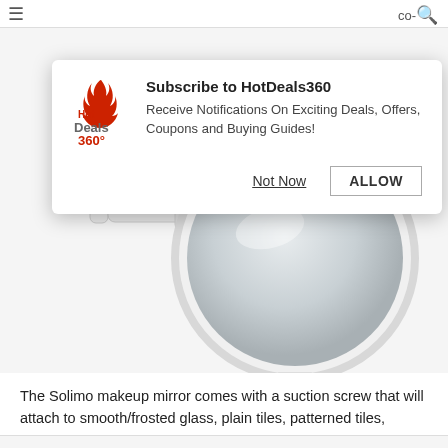[Figure (screenshot): Popup notification dialog from HotDeals360 website with logo, subscribe message, and two buttons (Not Now / ALLOW), overlaid on a product page showing a white suction wall-mount makeup mirror.]
The Solimo makeup mirror comes with a suction screw that will attach to smooth/frosted glass, plain tiles, patterned tiles, ceramic and metallic surfaces. You can adjust the angle of the device as per your needs.